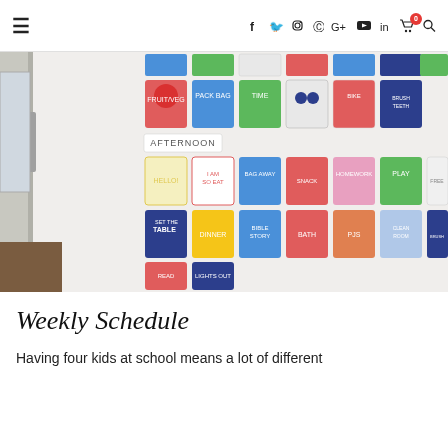≡  f  🐦  📷  P  G+  ▶  in  🛒⁰  🔍
[Figure (photo): Photo of a refrigerator door decorated with colorful printed schedule cards arranged in rows, showing daily routine activities including morning, afternoon and evening tasks such as pack bag, brush teeth, homework, dinner, bedtime, etc. The kitchen background is visible on the left side.]
Weekly Schedule
Having four kids at school means a lot of different